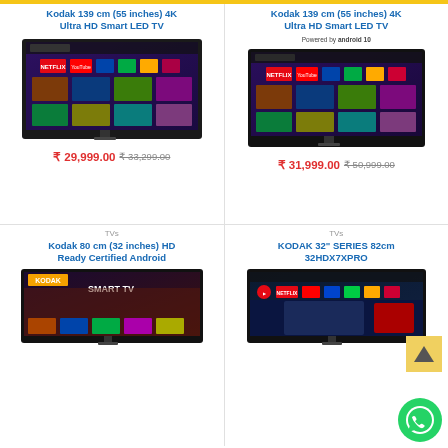Kodak 139 cm (55 inches) 4K Ultra HD Smart LED TV
[Figure (photo): Kodak 55 inch 4K Smart LED TV product image showing Android smart TV interface with Netflix and other apps]
₹ 29,999.00 ₹ 33,299.00
Kodak 139 cm (55 inches) 4K Ultra HD Smart LED TV
Powered by android 10
[Figure (photo): Kodak 55 inch 4K Smart LED TV product image with Android 10 badge showing smart TV interface]
₹ 31,999.00 ₹ 50,999.00
TVs
Kodak 80 cm (32 inches) HD Ready Certified Android
[Figure (photo): Kodak 32 inch HD Ready Certified Android Smart TV product image]
TVs
KODAK 32" SERIES 82cm 32HDX7XPRO
[Figure (photo): KODAK 32HDX7XPRO Smart TV product image showing TV interface with KBC and other content]